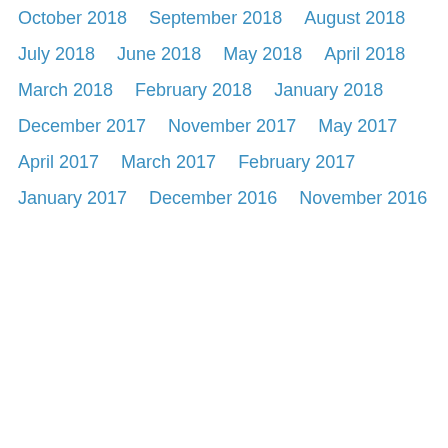October 2018
September 2018
August 2018
July 2018
June 2018
May 2018
April 2018
March 2018
February 2018
January 2018
December 2017
November 2017
May 2017
April 2017
March 2017
February 2017
January 2017
December 2016
November 2016